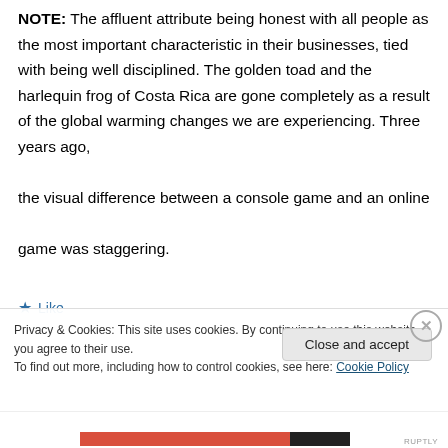NOTE: The affluent attribute being honest with all people as the most important characteristic in their businesses, tied with being well disciplined. The golden toad and the harlequin frog of Costa Rica are gone completely as a result of the global warming changes we are experiencing. Three years ago, the visual difference between a console game and an online game was staggering.
Like
Privacy & Cookies: This site uses cookies. By continuing to use this website, you agree to their use. To find out more, including how to control cookies, see here: Cookie Policy
Close and accept